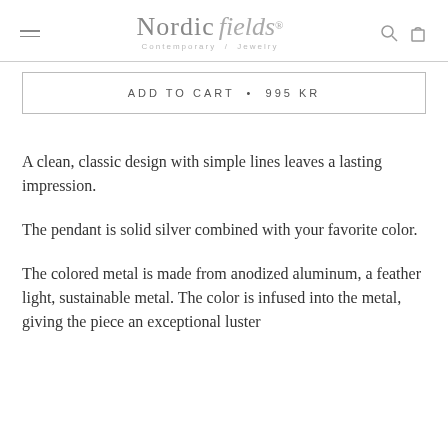Nordic fields® Contemporary Jewelry
ADD TO CART • 995 KR
A clean, classic design with simple lines leaves a lasting impression.
The pendant is solid silver combined with your favorite color.
The colored metal is made from anodized aluminum, a feather light, sustainable metal. The color is infused into the metal, giving the piece an exceptional luster and durability.